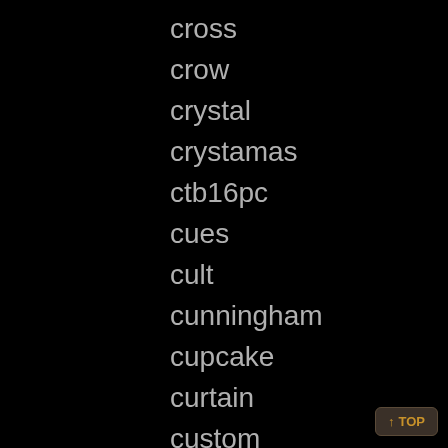cross
crow
crystal
crystamas
ctb16pc
cues
cult
cunningham
cupcake
curtain
custom
customizing
cute
cww1
cybis
cynthia
daft
damast